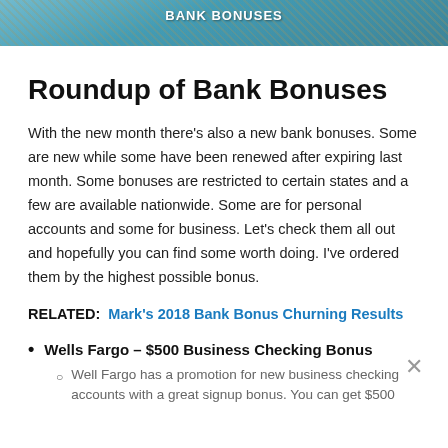[Figure (photo): Banner image with blue background and decorative texture overlay, partially showing text 'BANK BONUSES']
Roundup of Bank Bonuses
With the new month there's also a new bank bonuses. Some are new while some have been renewed after expiring last month. Some bonuses are restricted to certain states and a few are available nationwide. Some are for personal accounts and some for business. Let's check them all out and hopefully you can find some worth doing. I've ordered them by the highest possible bonus.
RELATED: Mark's 2018 Bank Bonus Churning Results
Wells Fargo – $500 Business Checking Bonus
Well Fargo has a promotion for new business checking accounts with a great signup bonus. You can get $500